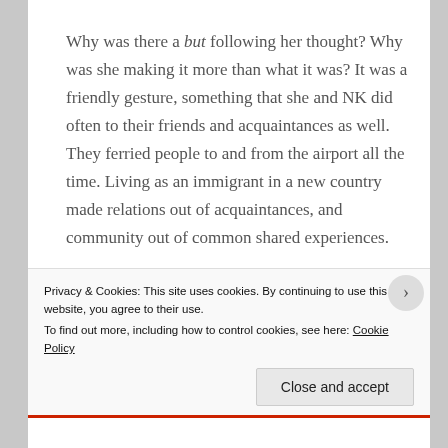Why was there a but following her thought? Why was she making it more than what it was? It was a friendly gesture, something that she and NK did often to their friends and acquaintances as well. They ferried people to and from the airport all the time. Living as an immigrant in a new country made relations out of acquaintances, and community out of common shared experiences.
Privacy & Cookies: This site uses cookies. By continuing to use this website, you agree to their use.
To find out more, including how to control cookies, see here: Cookie Policy
Close and accept